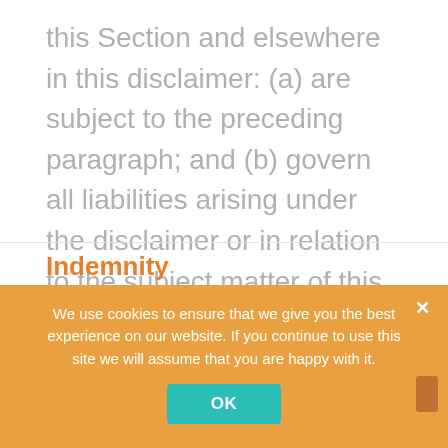this Section and elsewhere in this disclaimer: (a) are subject to the preceding paragraph; and (b) govern all liabilities arising under the disclaimer or in relation to the subject matter of this disclaimer, including liabilities arising in contract, in tort (including negligence) and for breach of statutory duty.
To the extent that the website and the information and services on the website are provided free of charge, we will not be liable for any loss or damage of any nature.
Indemnity
We use cookies to ensure that we give you the best experience on our website. If you continue to use this site we will assume that you are happy with it.